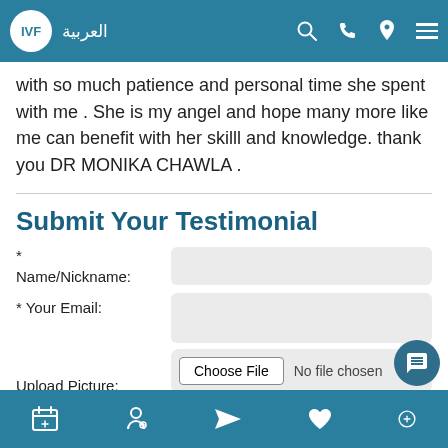IVF | العربية
with so much patience and personal time she spent with me . She is my angel and hope many more like me can benefit with her skilll and knowledge. thank you DR MONIKA CHAWLA .
Submit Your Testimonial
* Name/Nickname:
* Your Email:
Upload Picture:
Choose File No file chosen
* Comment: